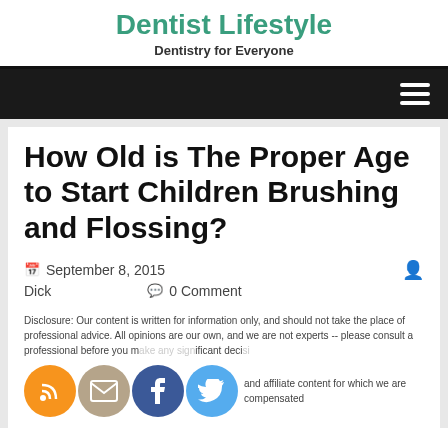Dentist Lifestyle
Dentistry for Everyone
How Old is The Proper Age to Start Children Brushing and Flossing?
September 8, 2015  Dick  0 Comment
Disclosure: Our content is written for information only, and should not take the place of professional advice. All opinions are our own, and we are not experts -- please consult a professional before you make any significant deci... ks m... and affiliate content for which we are compensated